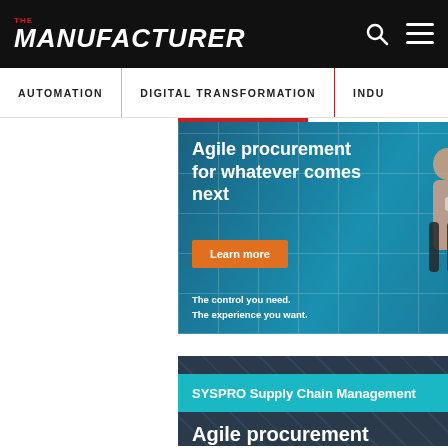THE MANUFACTURER
AUTOMATION | DIGITAL TRANSFORMATION | INDU...
[Figure (illustration): SYSPRO advertisement banner: 'Agile procurement for whatever comes next' with Learn more button, two professionals in industrial setting, tagline 'The control you need. The experience you want.' SYSPRO logo bottom right.]
[Figure (illustration): SYSPRO Supply Chain Management banner showing title and beginning of 'Agile procurement' headline over industrial background image.]